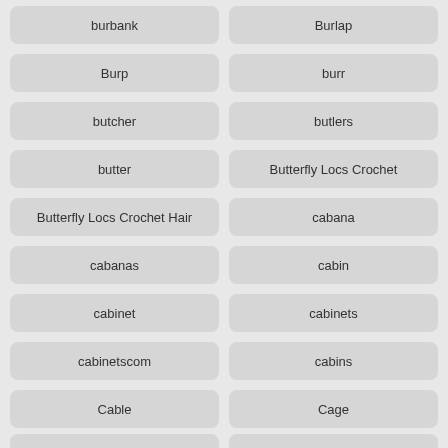burbank
Burlap
Burp
burr
butcher
butlers
butter
Butterfly Locs Crochet
Butterfly Locs Crochet Hair
cabana
cabanas
cabin
cabinet
cabinets
cabinetscom
cabins
Cable
Cage
Cages
Cake